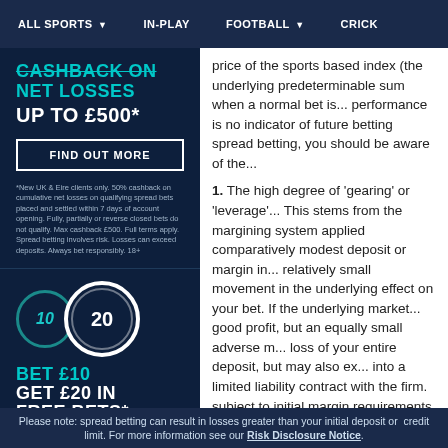ALL SPORTS ▼   IN-PLAY   FOOTBALL ▼   CRICK
[Figure (screenshot): Cashback on net losses promo: up to £500 with Find Out More button and terms]
*New UK & Eire clients only. 50% cashback on cumulative net losses on qualifying spread bets placed and settled within 7 days of account opening. Fully, partially or reverse closed bets do not qualify. Max cashback £500. Full terms apply. Spread betting involves risk. Losses can exceed deposits. Always bet responsibly. 18+
[Figure (screenshot): Bet £10 Get £20 in Free Bets promo with circle graphic showing 10 and 20]
price of the sports based index (the under... predeterminable sum when a normal bet is... performance is no indicator of future bettin... spread betting, you should be aware of the...
1. The high degree of 'gearing' or 'leverage'... This stems from the margining system appl... comparatively modest deposit or margin in... relatively small movement in the underlyin... effect on your bet. If the underlying market... good profit, but an equally small adverse m... loss of your entire deposit, but may also ex... into a limited liability contract with the firm... subject to initial margin requirements, the e... loss or financial liability and you can be sub... facility. As a consequence the amount of ca... sufficient to cover your credit limit and the p... be made once your credit limit has been ex...
2. You may be called upon to deposit a sub... your bet. If you do not provide such additio... closed at a loss and you will be liable for th...
3. Such transactions will not be undertaker... exchange and, accordingly, they may expo... The betting structure and betting rules will l... example, if you wish to close the bet earlie...
Please note: spread betting can result in losses greater than your initial deposit or credit limit. For more information see our Risk Disclosure Notice.